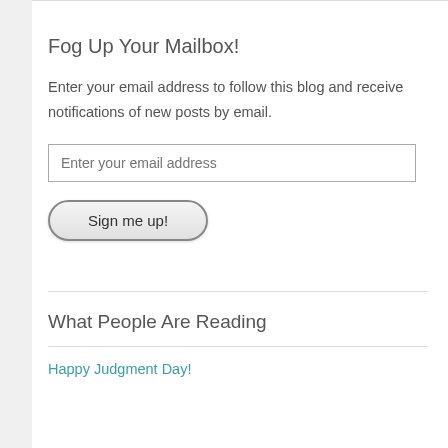Fog Up Your Mailbox!
Enter your email address to follow this blog and receive notifications of new posts by email.
Enter your email address
Sign me up!
What People Are Reading
Happy Judgment Day!